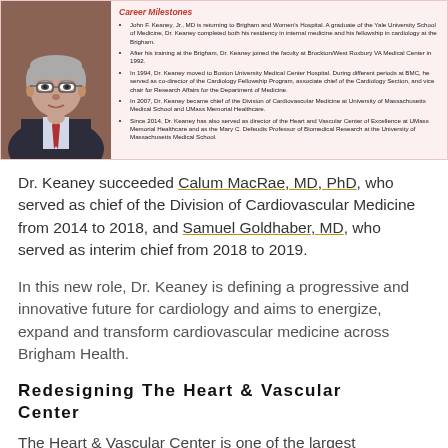[Figure (photo): Portrait photo of an older man wearing glasses, a suit and tie, with gray hair]
Career Milestones
John F. Keaney, Jr., MD is returning to Brigham and Women's Hospital. A graduate of the Yale University School of Medicine, Dr. Keaney completed both his residency in internal medicine and his fellowship in cardiology at the Brigham.
After his training at the Brigham, Dr. Keaney joined the faculty at Brockton/West Roxbury VA Medical Center in 1992.
In 1994, Dr. Keaney moved to Boston University Medical Center Hospital. During different periods at BMC, he served as co-director of the Cardiology Fellowship Program, associate chief of the Cardiology Section, and vice chair for Research Affairs for the Department of Medicine.
In 2007, Dr. Keaney became chief of the Division of Cardiovascular Medicine at University of Massachusetts Medical School and UMass Memorial Healthcare.
Since 2014, Dr. Keaney has also served as director of the Heart and Vascular Center of Excellence at UMass Memorial Healthcare and as the Mary C. Defeudis Professor of Biomedical Research at the University of Massachusetts Medical School.
Dr. Keaney succeeded Calum MacRae, MD, PhD, who served as chief of the Division of Cardiovascular Medicine from 2014 to 2018, and Samuel Goldhaber, MD, who served as interim chief from 2018 to 2019.
In this new role, Dr. Keaney is defining a progressive and innovative future for cardiology and aims to energize, expand and transform cardiovascular medicine across Brigham Health.
Redesigning The Heart & Vascular Center
The Heart & Vascular Center is one of the largest